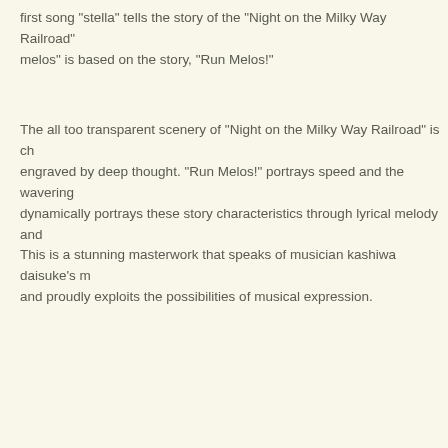first song "stella" tells the story of the "Night on the Milky Way Railroad" melos" is based on the story, "Run Melos!"
The all too transparent scenery of "Night on the Milky Way Railroad" is ch engraved by deep thought. "Run Melos!" portrays speed and the wavering dynamically portrays these story characteristics through lyrical melody and
This is a stunning masterwork that speaks of musician kashiwa daisuke's m and proudly exploits the possibilities of musical expression.